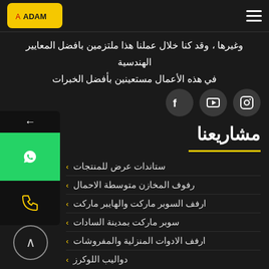hamburger menu | ADAM logo
وغيرها ، وقد كنا خلال عملنا هذا ملتزمين بافضل المعايير الهندسية في هذه الأعمال مستعينين بأفضل الخبرات
[Figure (logo): Social media icons: Instagram, YouTube, Facebook]
مشاريعنا
ستاندات عرض للمنتجات
رفوف المخازن متوسطة الاحمال
ارفف السوبر ماركت والهايبر ماركت
سوبر ماركت بمدينة السادات
ارفف الادوات المنزلية والمفروشات
دواليب اللوكرز